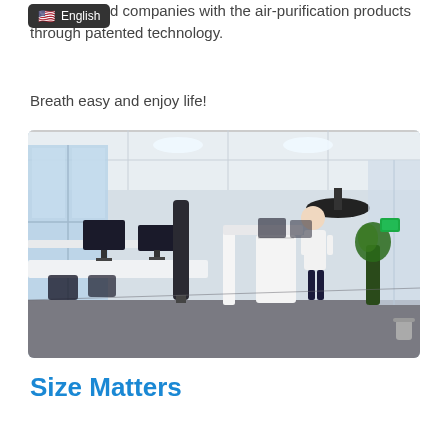...established companies with the air-purification products through patented technology.
Breath easy and enjoy life!
[Figure (photo): Modern open-plan office interior with workstations, computer monitors, a person walking in the background, a cylindrical air purifier unit, ceiling-mounted air purification device, and a plant near glass partitions.]
Size Matters